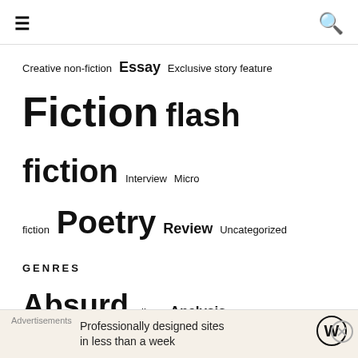☰ 🔍
Creative non-fiction  Essay  Exclusive story feature  Fiction  flash fiction  Interview  Micro fiction  Poetry  Review  Uncategorized
GENRES
Absurd  aliens  Analysis  Anxiety  apocalypse  Art  Birds  Cats  Childhood  China  Contemporary fantasy  Corporate life  COVID-19  Culture shock  Dark  Death  Dogs  Drama
Advertisements
Professionally designed sites in less than a week